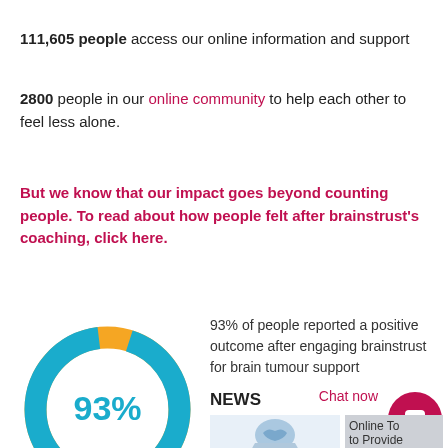111,605 people access our online information and support
2800 people in our online community to help each other to feel less alone.
But we know that our impact goes beyond counting people. To read about how people felt after brainstrust's coaching, click here.
[Figure (donut-chart): 93% positive outcome]
93% of people reported a positive outcome after engaging brainstrust for brain tumour support
NEWS
Chat now
[Figure (photo): Hands holding a brain heart illustration]